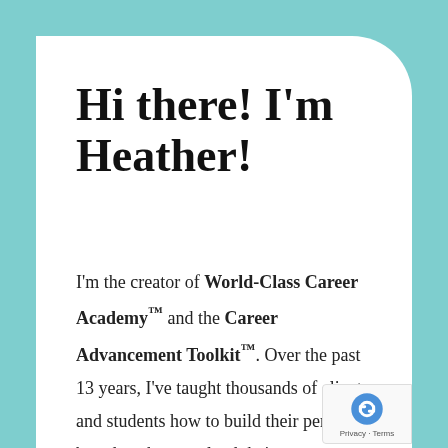Hi there! I'm Heather!
I'm the creator of World-Class Career Academy™ and the Career Advancement Toolkit™. Over the past 13 years, I've taught thousands of clients and students how to build their personal brand so they can land their